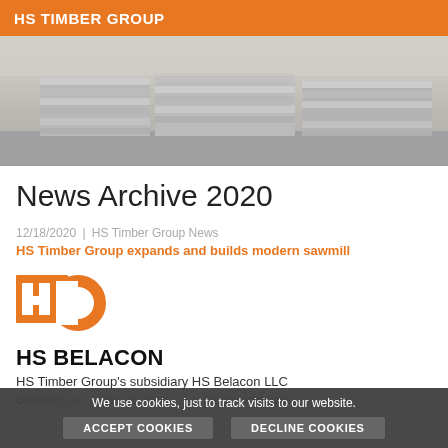HS TIMBER GROUP
[Figure (photo): Black and white photograph of stacked timber/lumber at a sawmill facility]
News Archive 2020
12/18/2020 | HS Timber Group News
HS Timber Group expands and builds modern sawmill
[Figure (logo): HS Belacon logo - orange stylized HS emblem with circle]
HS BELACON
HS Timber Group's subsidiary HS Belacon LLC
constructions... Belarusian... in the Belar...
We use cookies, just to track visits to our website.
ACCEPT COOKIES   DECLINE COOKIES